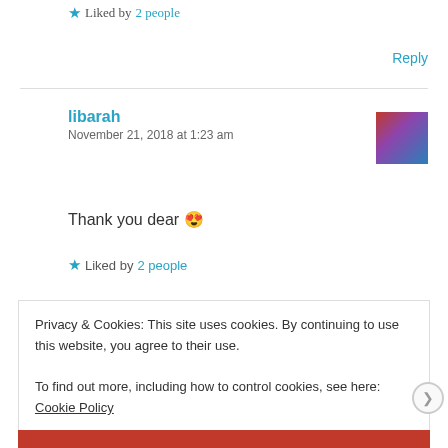★ Liked by 2 people
Reply
libarah
November 21, 2018 at 1:23 am
Thank you dear 😍
★ Liked by 2 people
Privacy & Cookies: This site uses cookies. By continuing to use this website, you agree to their use.
To find out more, including how to control cookies, see here: Cookie Policy
Close and accept